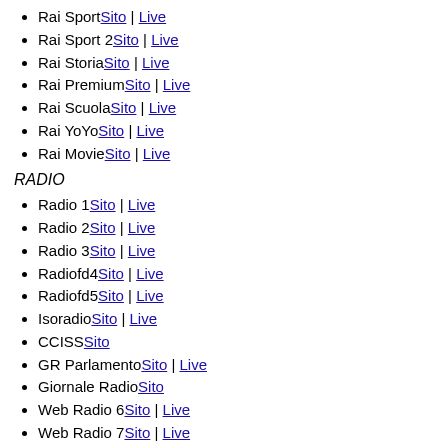Rai SportSito | Live
Rai Sport 2Sito | Live
Rai StoriaSito | Live
Rai PremiumSito | Live
Rai ScuolaSito | Live
Rai YoYoSito | Live
Rai MovieSito | Live
RADIO
Radio 1Sito | Live
Radio 2Sito | Live
Radio 3Sito | Live
Radiofd4Sito | Live
Radiofd5Sito | Live
IsoradioSito | Live
CCISSSito
GR ParlamentoSito | Live
Giornale RadioSito
Web Radio 6Sito | Live
Web Radio 7Sito | Live
Web Radio 8Sito | Live
PORTALI WEB
Rai.tv